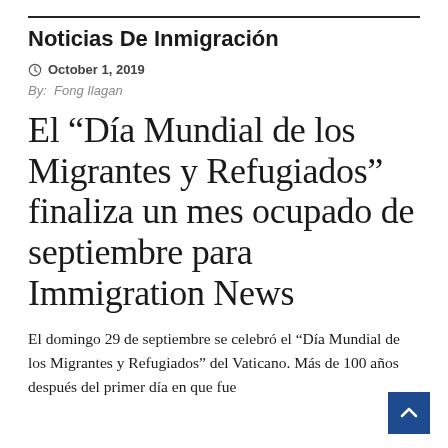Noticias De Inmigración
October 1, 2019
By: Fong Ilagan
El “Día Mundial de los Migrantes y Refugiados” finaliza un mes ocupado de septiembre para Immigration News
El domingo 29 de septiembre se celebró el “Día Mundial de los Migrantes y Refugiados” del Vaticano. Más de 100 años después del primer día en que fue